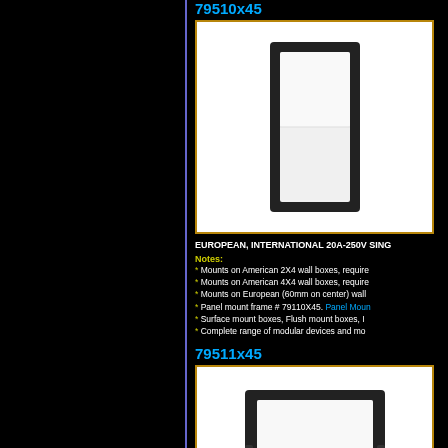79510x45
[Figure (photo): White European/International single pole switch module, portrait orientation, black housing visible on sides]
EUROPEAN, INTERNATIONAL 20A-250V SING...
Notes:
* Mounts on American 2X4 wall boxes, require...
* Mounts on American 4X4 wall boxes, require...
* Mounts on European (60mm on center) wall ...
* Panel mount frame # 79110X45. Panel Moun...
* Surface mount boxes, Flush mount boxes, I...
* Complete range of modular devices and mo...
79511x45
[Figure (photo): White European/International single pole switch module, landscape/square orientation, black housing visible]